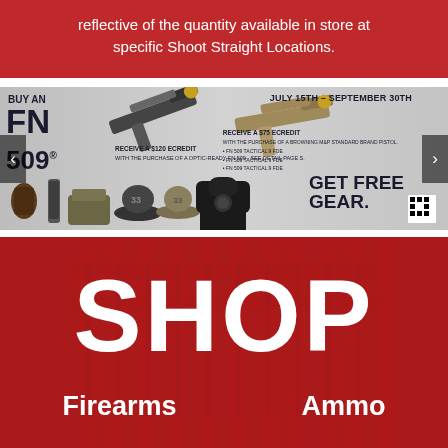reflective of the quantity available in store at specific Shoot Straight Locations.
[Figure (photo): FN 509 promotional banner advertisement. Text reads: BUY AN FN 509. JULY 15TH – SEPTEMBER 30TH. RECEIVE A $120 eCREDIT (with purchase of a optic-ready FN 509). RECEIVE A $75 eCREDIT. GET FREE GEAR. Shows two handguns with optics, tactical bag, hat, hoodie, holster, and magazine.]
[Figure (photo): Shop banner with red background showing gun rack. Large white text reads: SHOP. Bottom row shows: Firearms | Ammo]